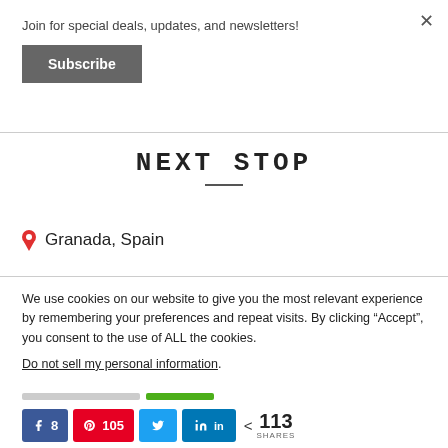Join for special deals, updates, and newsletters!
Subscribe
NEXT STOP
📍 Granada, Spain
We use cookies on our website to give you the most relevant experience by remembering your preferences and repeat visits. By clicking "Accept", you consent to the use of ALL the cookies.
Do not sell my personal information.
8  105  113 SHARES